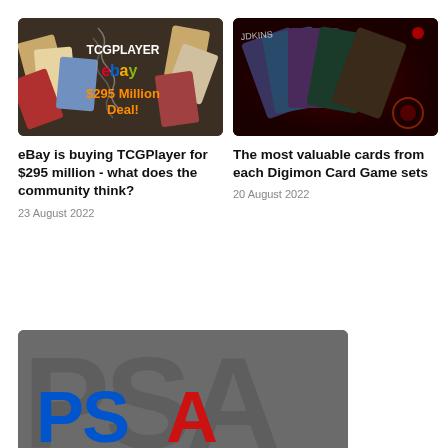[Figure (photo): Dark brown background with scattered trading cards, TCGPlayer logo, eBay logo, and text '$295 Million Deal!']
eBay is buying TCGPlayer for $295 million - what does the community think?
23 August 2022
[Figure (photo): Dark red/black background with anime-style Digimon trading cards fanned out]
The most valuable cards from each Digimon Card Game sets
20 August 2022
[Figure (photo): Grey background with large watermark-style PSA logo, partial view showing blue and red PSA letters]